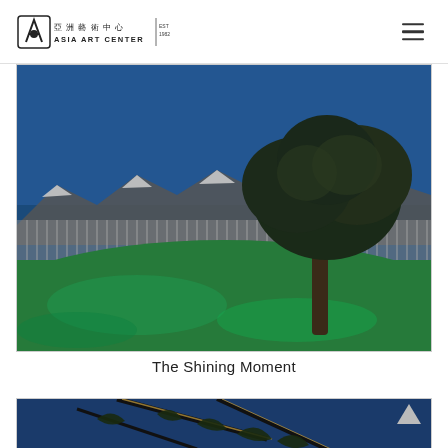亞洲藝術中心 ASIA ART CENTER | EST 1982
[Figure (photo): A painting showing a green meadow with a large tree on the right side, mountains with snow and a fence in the background, under a deep blue sky. Appears to be a traditional-style painting with dark outlines.]
The Shining Moment
[Figure (photo): A painting showing dark pine tree branches with golden highlights against a deep blue background, partially visible at the bottom of the page.]